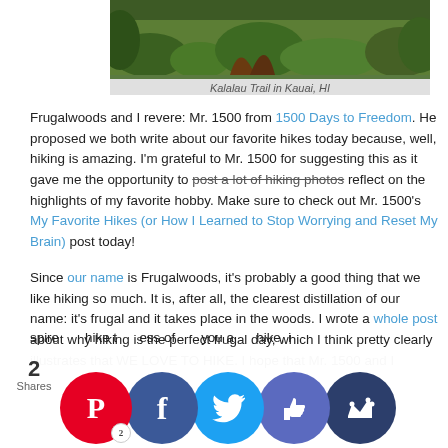[Figure (photo): Aerial/ground-level view of a lush green trail with vegetation, Kalalau Trail in Kauai, HI]
Kalalau Trail in Kauai, HI
Frugalwoods and I revere: Mr. 1500 from 1500 Days to Freedom. He proposed we both write about our favorite hikes today because, well, hiking is amazing. I'm grateful to Mr. 1500 for suggesting this as it gave me the opportunity to post a lot of hiking photos reflect on the highlights of my favorite hobby. Make sure to check out Mr. 1500's My Favorite Hikes (or How I Learned to Stop Worrying and Reset My Brain) post today!
Since our name is Frugalwoods, it's probably a good thing that we like hiking so much. It is, after all, the clearest distillation of our name: it's frugal and it takes place in the woods. I wrote a whole post about why hiking is the perfect frugal day, which I think pretty clearly illustrates that WE LOVE TO HIKE. I hope that Mr. 1500 and I spire hike t ess of you a hike, i
2 Shares